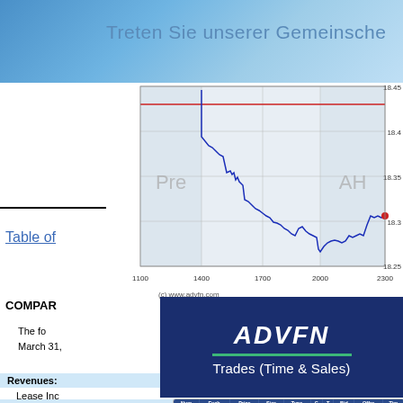Treten Sie unserer Gemeinsche
[Figure (continuous-plot): Stock price line chart showing intraday price movement between approx 1100 and 2300 time, with price range 18.25 to 18.45. Blue line chart with red horizontal reference line at ~18.42. Pre and AH (after hours) shaded regions visible. Y-axis labels: 18.45, 18.4, 18.35, 18.3, 18.25. X-axis labels: 1100, 1400, 1700, 2000, 2300. Copyright (c) www.advfn.com]
Table of
COMPAR
The fo
March 31,
[Figure (logo): ADVFN logo in white italic bold text on dark navy background, with green horizontal line separator, and subtitle Trades (Time & Sales)]
[Figure (screenshot): Screenshot of ADVFN trades window showing a table with columns: Num, Exch., Price, Size, Type, C, T, Bid, Offer, Tim. Rows with green background showing trades: 13675 nyse 70.0656 6 basket stx 70.06 70.07 15:43, 13674 nyse 70.07 100 70.07 70.07 15:43, 13673 nyse 70.07 100 70.07 70.07 15:43, and more rows]
Revenues:
Lease Inc
Total Re